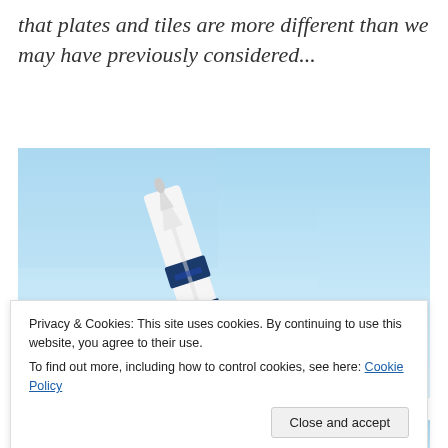that plates and tiles are more different than we may have previously considered...
[Figure (photo): Photo of a white and dark blue rocket (Saturn V or similar) viewed from below against a clear light blue sky, taken at a low angle showing the nose and upper body of the rocket.]
Privacy & Cookies: This site uses cookies. By continuing to use this website, you agree to their use. To find out more, including how to control cookies, see here: Cookie Policy
Close and accept